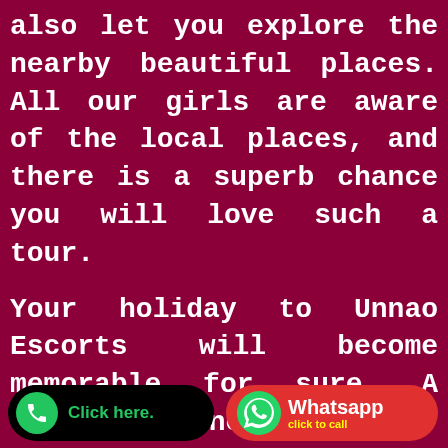also let you explore the nearby beautiful places. All our girls are aware of the local places, and there is a superb chance you will love such a tour.

Your holiday to Unnao Escorts will become memorable for sure. A female partner from our Unnao Escort Agency will do wonders in your life. There are tons of call girls in our agency, so you will find it very difficult to choose the right girl. Get ready for making a solid our babes
[Figure (other): Two call-to-action buttons at bottom: a black pill button with green phone icon and 'Click here.' text, and a red pill button with WhatsApp icon and 'Whatsapp click to call' text.]